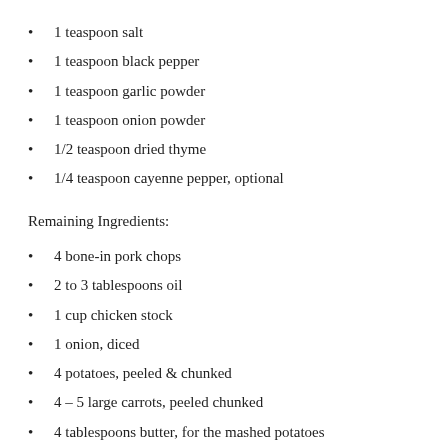1 teaspoon salt
1 teaspoon black pepper
1 teaspoon garlic powder
1 teaspoon onion powder
1/2 teaspoon dried thyme
1/4 teaspoon cayenne pepper, optional
Remaining Ingredients:
4 bone-in pork chops
2 to 3 tablespoons oil
1 cup chicken stock
1 onion, diced
4 potatoes, peeled & chunked
4 – 5 large carrots, peeled chunked
4 tablespoons butter, for the mashed potatoes
3-4 tablespoons milk, for the mashed potatoes